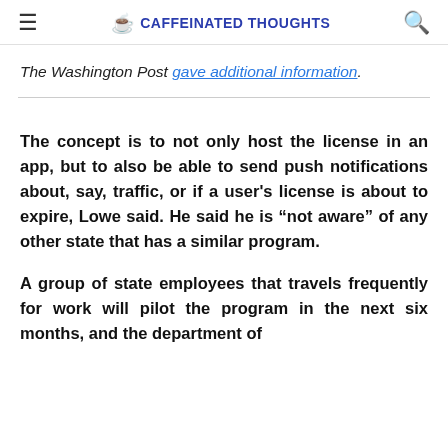☰  CAFFEINATED THOUGHTS  🔍
The Washington Post gave additional information.
The concept is to not only host the license in an app, but to also be able to send push notifications about, say, traffic, or if a user's license is about to expire, Lowe said. He said he is "not aware" of any other state that has a similar program.
A group of state employees that travels frequently for work will pilot the program in the next six months, and the department of